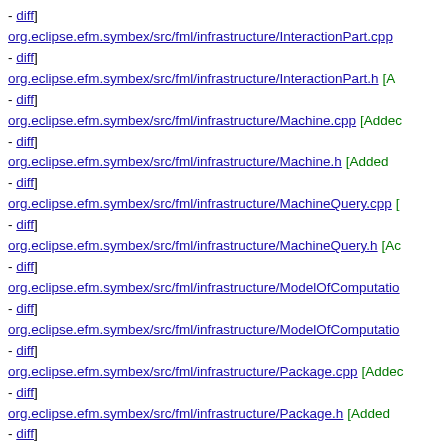- diff] org.eclipse.efm.symbex/src/fml/infrastructure/InteractionPart.cpp - diff]
org.eclipse.efm.symbex/src/fml/infrastructure/InteractionPart.h [A... - diff]
org.eclipse.efm.symbex/src/fml/infrastructure/Machine.cpp [Added - diff]
org.eclipse.efm.symbex/src/fml/infrastructure/Machine.h [Added - diff]
org.eclipse.efm.symbex/src/fml/infrastructure/MachineQuery.cpp [... - diff]
org.eclipse.efm.symbex/src/fml/infrastructure/MachineQuery.h [Ac... - diff]
org.eclipse.efm.symbex/src/fml/infrastructure/ModelOfComputatio... - diff]
org.eclipse.efm.symbex/src/fml/infrastructure/ModelOfComputatio... - diff]
org.eclipse.efm.symbex/src/fml/infrastructure/Package.cpp [Adde... - diff]
org.eclipse.efm.symbex/src/fml/infrastructure/Package.h [Added - diff]